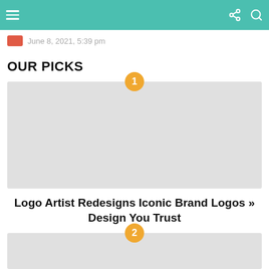June 8, 2021, 5:39 pm
OUR PICKS
[Figure (photo): Placeholder image for article 1 with circular badge showing number 1]
Logo Artist Redesigns Iconic Brand Logos » Design You Trust
[Figure (photo): Placeholder image for article 2 with circular badge showing number 2]